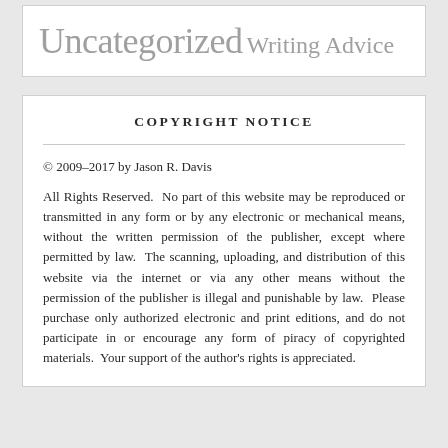Uncategorized  Writing Advice
COPYRIGHT NOTICE
© 2009–2017 by Jason R. Davis
All Rights Reserved.  No part of this website may be reproduced or transmitted in any form or by any electronic or mechanical means, without the written permission of the publisher, except where permitted by law.  The scanning, uploading, and distribution of this website via the internet or via any other means without the permission of the publisher is illegal and punishable by law.  Please purchase only authorized electronic and print editions, and do not participate in or encourage any form of piracy of copyrighted materials.  Your support of the author's rights is appreciated.